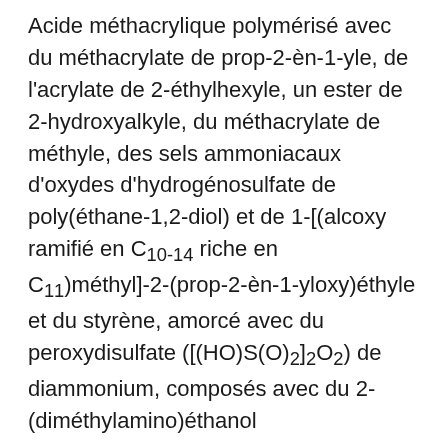Acide méthacrylique polymérisé avec du méthacrylate de prop-2-èn-1-yle, de l'acrylate de 2-éthylhexyle, un ester de 2-hydroxyalkyle, du méthacrylate de méthyle, des sels ammoniacaux d'oxydes d'hydrogénosulfate de poly(éthane-1,2-diol) et de 1-[(alcoxy ramifié en C₁₀₋₁₄ riche en C₁₁)méthyl]-2-(prop-2-èn-1-yloxy)éthyle et du styrène, amorcé avec du peroxydisulfate ([(HO)S(O)₂]₂O₂) de diammonium, composés avec du 2-(diméthylamino)éthanol
18479-2 N-P